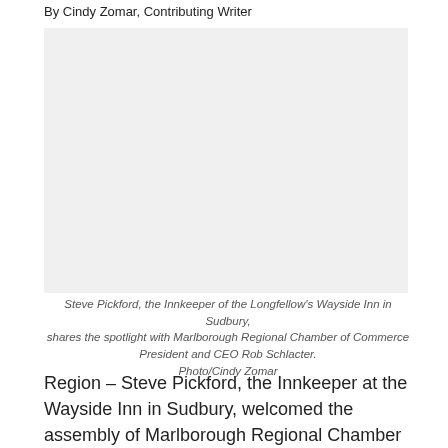By Cindy Zomar, Contributing Writer
[Figure (photo): Steve Pickford and Rob Schlacter sharing the spotlight, photo taken at the Longfellow's Wayside Inn in Sudbury.]
Steve Pickford, the Innkeeper of the Longfellow's Wayside Inn in Sudbury, shares the spotlight with Marlborough Regional Chamber of Commerce President and CEO Rob Schlacter. Photo/Cindy Zomar
Region – Steve Pickford, the Innkeeper at the Wayside Inn in Sudbury, welcomed the assembly of Marlborough Regional Chamber of Commerce (MRCC) members to a networked and festive After…